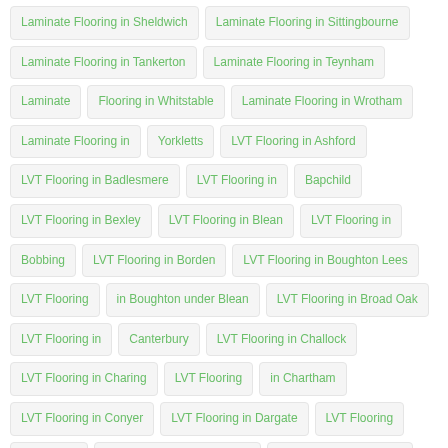Laminate Flooring in Sheldwich
Laminate Flooring in Sittingbourne
Laminate Flooring in Tankerton
Laminate Flooring in Teynham
Laminate Flooring in Whitstable
Laminate Flooring in Wrotham
Laminate Flooring in Yorkletts
LVT Flooring in Ashford
LVT Flooring in Badlesmere
LVT Flooring in Bapchild
LVT Flooring in Bexley
LVT Flooring in Blean
LVT Flooring in Bobbing
LVT Flooring in Borden
LVT Flooring in Boughton Lees
LVT Flooring in Boughton under Blean
LVT Flooring in Broad Oak
LVT Flooring in Canterbury
LVT Flooring in Challock
LVT Flooring in Charing
LVT Flooring in Chartham
LVT Flooring in Conyer
LVT Flooring in Dargate
LVT Flooring in Dartford
LVT Flooring in Doddington
LVT Flooring in Dunkirk
LVT